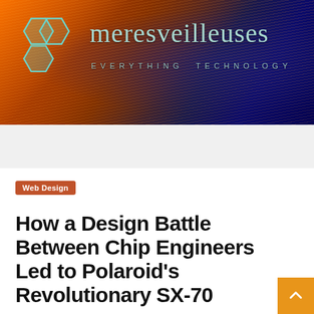[Figure (logo): Meresveilleuses website header banner with hexagon logo, orange-to-dark-blue gradient background with circuit/tech lines, site name 'meresveilleuses' and tagline 'EVERYTHING TECHNOLOGY']
meresveilleuses — EVERYTHING TECHNOLOGY
Web Design
How a Design Battle Between Chip Engineers Led to Polaroid's Revolutionary SX-70